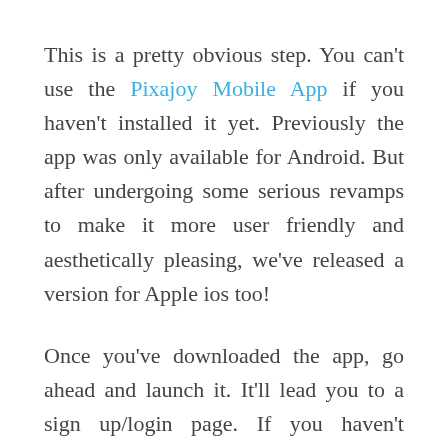This is a pretty obvious step. You can't use the Pixajoy Mobile App if you haven't installed it yet. Previously the app was only available for Android. But after undergoing some serious revamps to make it more user friendly and aesthetically pleasing, we've released a version for Apple ios too!
Once you've downloaded the app, go ahead and launch it. It'll lead you to a sign up/login page. If you haven't registered for a Pixajoy account yet, go ahead and register. If you already have a Pixajoy account, go ahead and sign in using the same email address and password that you